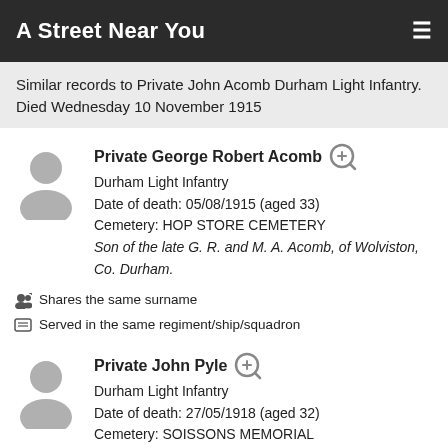A Street Near You
Similar records to Private John Acomb Durham Light Infantry. Died Wednesday 10 November 1915
Private George Robert Acomb
Durham Light Infantry
Date of death: 05/08/1915 (aged 33)
Cemetery: HOP STORE CEMETERY
Son of the late G. R. and M. A. Acomb, of Wolviston, Co. Durham.
Shares the same surname
Served in the same regiment/ship/squadron
Private John Pyle
Durham Light Infantry
Date of death: 27/05/1918 (aged 32)
Cemetery: SOISSONS MEMORIAL
Son of John and Sarah Pyle, of Albert Place, Peterborough; husband